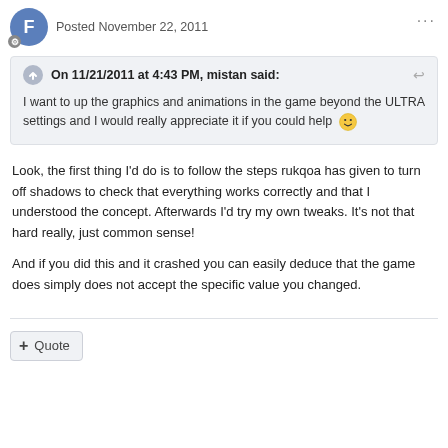Posted November 22, 2011
On 11/21/2011 at 4:43 PM, mistan said:
I want to up the graphics and animations in the game beyond the ULTRA settings and I would really appreciate it if you could help 😁
Look, the first thing I'd do is to follow the steps rukqoa has given to turn off shadows to check that everything works correctly and that I understood the concept. Afterwards I'd try my own tweaks. It's not that hard really, just common sense!

And if you did this and it crashed you can easily deduce that the game does simply does not accept the specific value you changed.
Quote